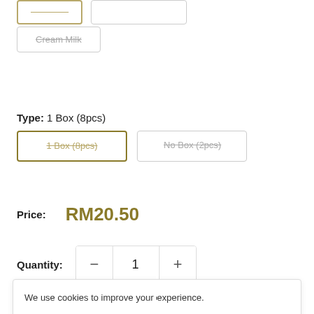Cream Milk (strikethrough, unselected option button)
Type: 1 Box (8pcs)
1 Box (8pcs) [selected, strikethrough]
No Box (2pcs) [unselected, strikethrough]
Price: RM20.50
Quantity: 1
We use cookies to improve your experience.
I Accept
Description